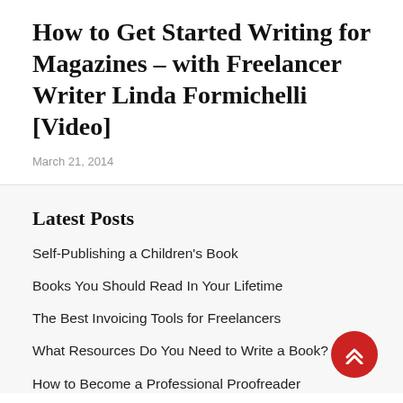How to Get Started Writing for Magazines – with Freelancer Writer Linda Formichelli [Video]
March 21, 2014
Latest Posts
Self-Publishing a Children's Book
Books You Should Read In Your Lifetime
The Best Invoicing Tools for Freelancers
What Resources Do You Need to Write a Book?
How to Become a Professional Proofreader